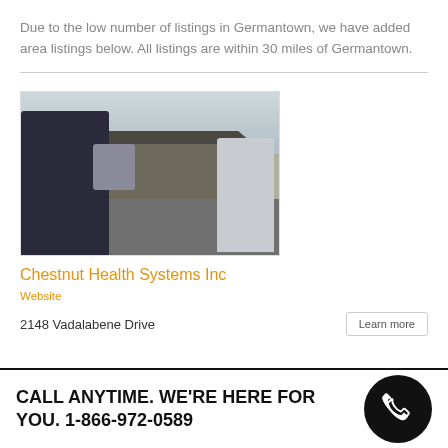Due to the low number of listings in Germantown, we have added area listings below. All listings are within 30 miles of Germantown.
[Figure (photo): Exterior photo of Chestnut Health Systems Inc building with parking lot and vehicles in foreground]
Chestnut Health Systems Inc
Website
2148 Vadalabene Drive
CALL ANYTIME. WE'RE HERE FOR YOU. 1-866-972-0589